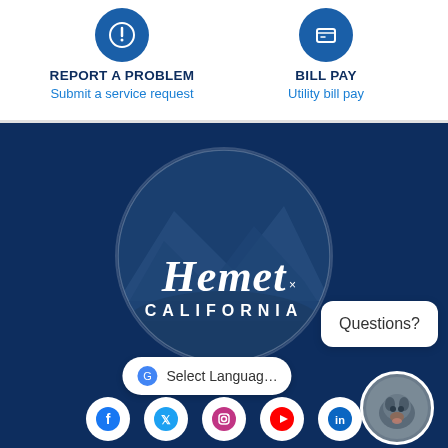REPORT A PROBLEM
Submit a service request
BILL PAY
Utility bill pay
[Figure (logo): Hemet California city logo — circular seal with mountains/landscape graphic in dark blue, with 'Hemet' in white script and 'CALIFORNIA' in uppercase below]
Questions?
Select Language
[Figure (illustration): Social media icons row: Facebook, Twitter/X, Instagram, YouTube, and another icon, all in white on dark blue background]